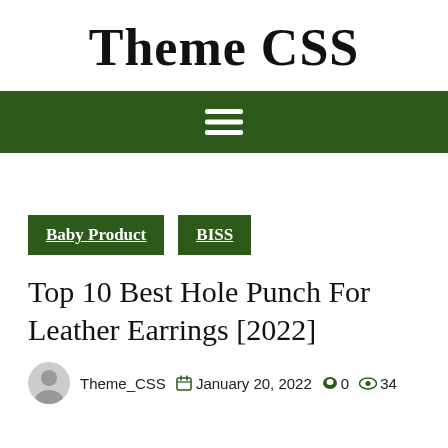Theme CSS
[Figure (other): Dark green navigation bar with white hamburger menu icon (three horizontal lines)]
Baby Product
BISS
Top 10 Best Hole Punch For Leather Earrings [2022]
Theme_CSS  January 20, 2022  0  34